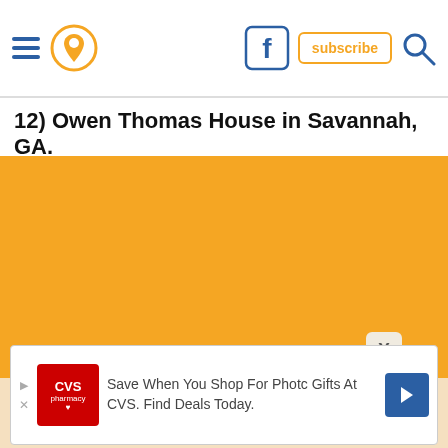Navigation header with hamburger menu, location pin icon, Facebook icon, subscribe button, and search icon
12) Owen Thomas House in Savannah, GA.
[Figure (photo): Orange/amber colored image placeholder for Owen Thomas House in Savannah, GA with a close button (X) overlay]
[Figure (other): CVS Pharmacy advertisement banner: Save When You Shop For Photo Gifts At CVS. Find Deals Today.]